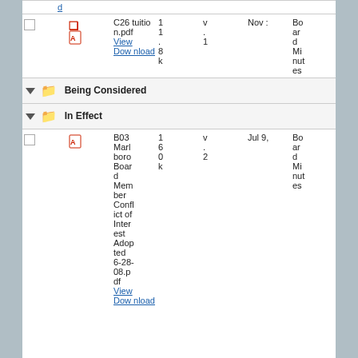|  |  | Name | Size | Ver | Date | Type |
| --- | --- | --- | --- | --- | --- | --- |
|  |  | d (link) |  |  |  |  |
| ☐ | PDF | C26 tuition.pdf
View
Download | 1.1.8k | v.1 | Nov : | Board Minutes |
| ▼ folder | Being Considered |  |  |  |  |  |
| ▼ folder | In Effect |  |  |  |  |  |
| ☐ | PDF | B03 Marlboro Board Member Conflict of Interest Adopted 6-28-08.pdf
View
Download | 1 6 0 k | v.2 | Jul 9, | Board Minutes |